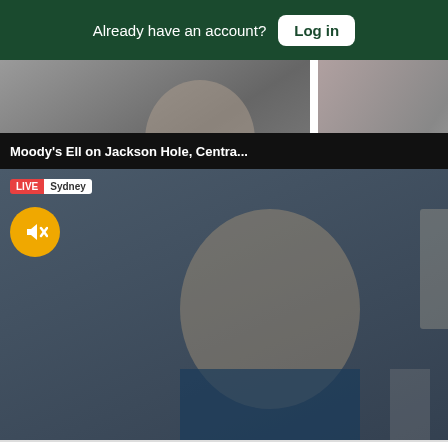Already have an account? Log in
[Figure (screenshot): Article thumbnail: Gritty cult director Ferrara gets religion in 'Padre Pio' –...]
Gritty cult director Ferrara gets religion in 'Padre Pio' –...
David Christ · 1d
[Figure (screenshot): Partial article thumbnail: Chiefs ... during...]
Chiefs ... during
Lu
...nkful
...ite...
Awesome...
Great th
Top C
[Figure (screenshot): Floating video popup: Moody's Ell on Jackson Hole, Centra... LIVE Sydney, Katrina Ell, Moody's Analytics Senior Economist. Ticker: POWELL: RATES LIKELY TO STAY HIGH FOR SOME TIME]
Moody's Ell on Jackson Hole, Centra...
LIVE Sydney
Katrina Ell
MOODY'S ANALYTICS
SENIOR ECONOMIST
POWELL: RATES LIKELY TO STAY HIGH FOR SOME TIME
Sections | NY Edition | Philly | Games | Advertise | Sign Up